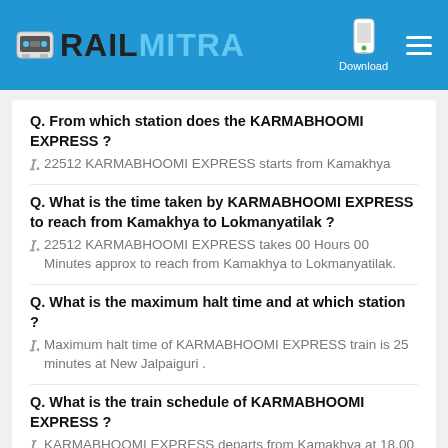RAILMITRA
Q. From which station does the KARMABHOOMI EXPRESS ?
A. 22512 KARMABHOOMI EXPRESS starts from Kamakhya
Q. What is the time taken by KARMABHOOMI EXPRESS to reach from Kamakhya to Lokmanyatilak ?
A. 22512 KARMABHOOMI EXPRESS takes 00 Hours 00 Minutes approx to reach from Kamakhya to Lokmanyatilak.
Q. What is the maximum halt time and at which station ?
A. Maximum halt time of KARMABHOOMI EXPRESS train is 25 minutes at New Jalpaiguri .
Q. What is the train schedule of KARMABHOOMI EXPRESS ?
A. KARMABHOOMI EXPRESS departs from Kamakhya at 18.00 and reaches at Lokmanyatilak by 21.30.